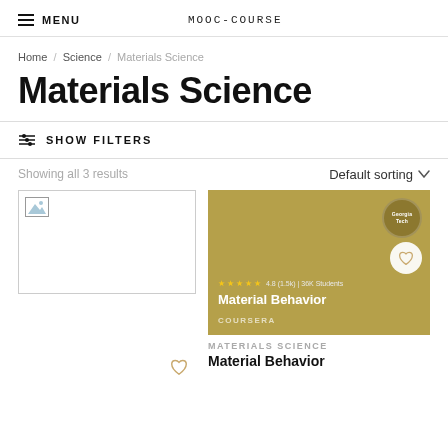MENU   mooc-course
Home / Science / Materials Science
Materials Science
SHOW FILTERS
Showing all 3 results   Default sorting
[Figure (screenshot): Course card with broken image placeholder and heart/favorite icon]
[Figure (screenshot): Material Behavior course card with tan/gold background, Georgia Tech logo badge, star rating 4.8 (1.5k), 36k Students, Coursera provider label]
MATERIALS SCIENCE
Material Behavior